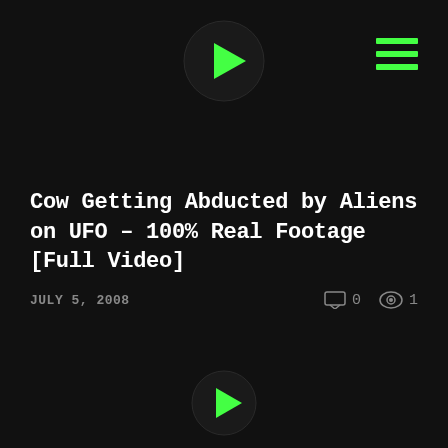[Figure (other): Play button circle icon at top center]
[Figure (other): Hamburger menu icon (three horizontal green lines) at top right]
Cow Getting Abducted by Aliens on UFO – 100% Real Footage [Full Video]
JULY 5, 2008   0   1
[Figure (other): Play button circle icon at bottom center]